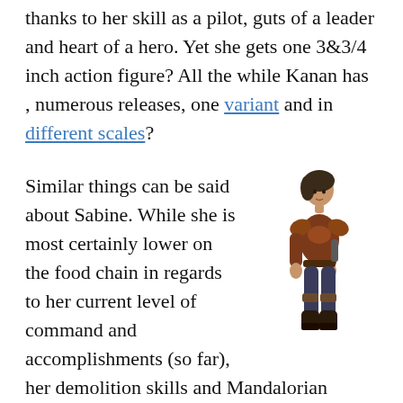thanks to her skill as a pilot, guts of a leader and heart of a hero. Yet she gets one 3&3/4 inch action figure? All the while Kanan has , numerous releases, one variant and in different scales?
Similar things can be said about Sabine. While she is most certainly lower on the food chain in regards to her current level of command and accomplishments (so far), her demolition skills and Mandalorian heritage would make for excellent deluxe toys. Seriously, a female Boba Fett with 100 fold the dialog in one episode than he had in 4 movies
[Figure (illustration): Animated character illustration of Sabine Wren from Star Wars Rebels, a female character in Mandalorian-style armor, posed dynamically]